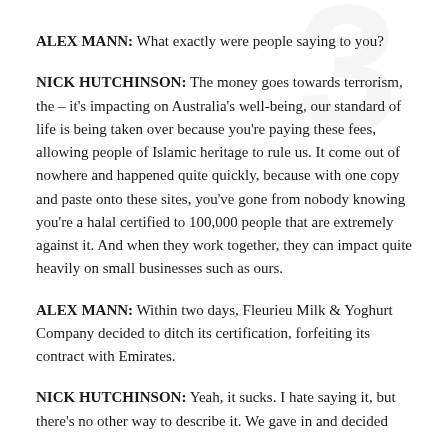ALEX MANN: What exactly were people saying to you?
NICK HUTCHINSON: The money goes towards terrorism, the – it's impacting on Australia's well-being, our standard of life is being taken over because you're paying these fees, allowing people of Islamic heritage to rule us. It come out of nowhere and happened quite quickly, because with one copy and paste onto these sites, you've gone from nobody knowing you're a halal certified to 100,000 people that are extremely against it. And when they work together, they can impact quite heavily on small businesses such as ours.
ALEX MANN: Within two days, Fleurieu Milk & Yoghurt Company decided to ditch its certification, forfeiting its contract with Emirates.
NICK HUTCHINSON: Yeah, it sucks. I hate saying it, but there's no other way to describe it. We gave in and decided